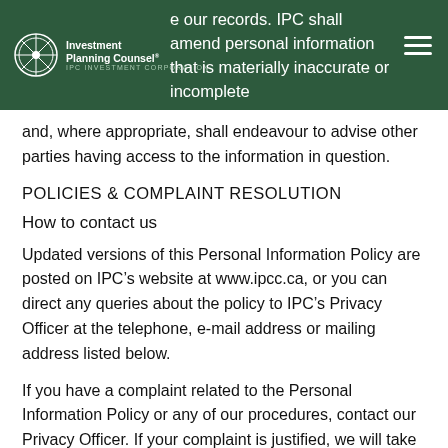e our records. IPC shall amend personal information that is materially inaccurate or incomplete
and, where appropriate, shall endeavour to advise other parties having access to the information in question.
POLICIES & COMPLAINT RESOLUTION
How to contact us
Updated versions of this Personal Information Policy are posted on IPC’s website at www.ipcc.ca, or you can direct any queries about the policy to IPC’s Privacy Officer at the telephone, e-mail address or mailing address listed below.
If you have a complaint related to the Personal Information Policy or any of our procedures, contact our Privacy Officer. If your complaint is justified, we will take the steps necessary to resolve the issue, including